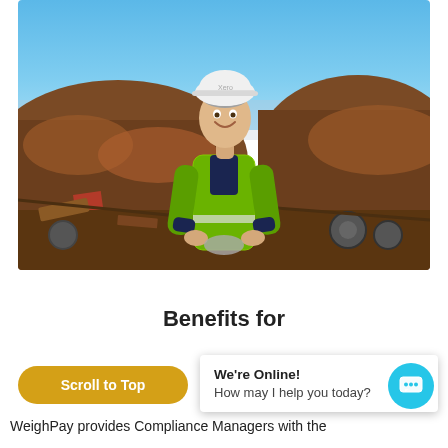[Figure (photo): A woman in a white hard hat and bright green/yellow high-visibility jacket stands smiling in a scrap metal yard, holding something in her hands. The background shows a large pile of scrap metal under a clear blue sky.]
Benefits for
Scroll to Top
We're Online!
How may I help you today?
WeighPay provides Compliance Managers with the